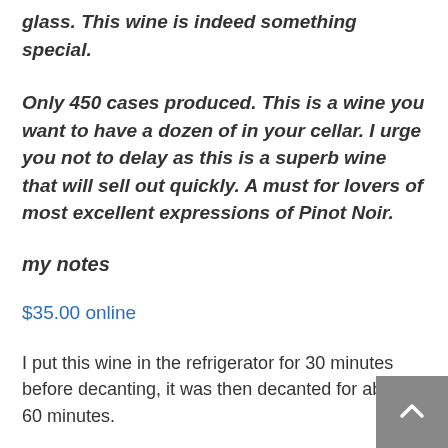glass. This wine is indeed something special.
Only 450 cases produced. This is a wine you want to have a dozen of in your cellar. I urge you not to delay as this is a superb wine that will sell out quickly. A must for lovers of most excellent expressions of Pinot Noir.
my notes
$35.00 online
I put this wine in the refrigerator for 30 minutes before decanting, it was then decanted for about 60 minutes.
Please don't fret over my decision to slightly bring